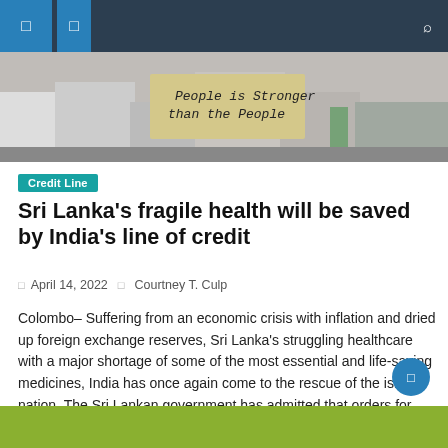Navigation bar with icons
[Figure (photo): Protest scene with people holding a sign reading 'People is Stronger than the People']
Credit Line
Sri Lanka's fragile health will be saved by India's line of credit
April 14, 2022   Courtney T. Culp
Colombo- Suffering from an economic crisis with inflation and dried up foreign exchange reserves, Sri Lanka's struggling healthcare with a major shortage of some of the most essential and life-saving medicines, India has once again come to the rescue of the island nation. The Sri Lankan government has admitted that orders for medicines and equipment [...]
[Figure (other): Green banner at bottom of page]